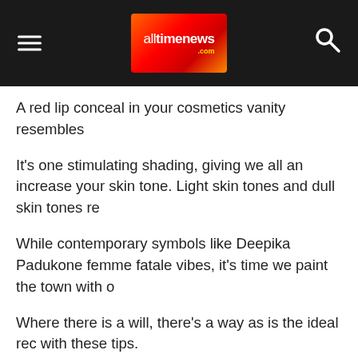alltimenews.com
A red lip conceal in your cosmetics vanity resembles
It's one stimulating shading, giving we all an increase your skin tone. Light skin tones and dull skin tones re
While contemporary symbols like Deepika Padukone femme fatale vibes, it's time we paint the town with o
Where there is a will, there's a way as is the ideal rec with these tips.